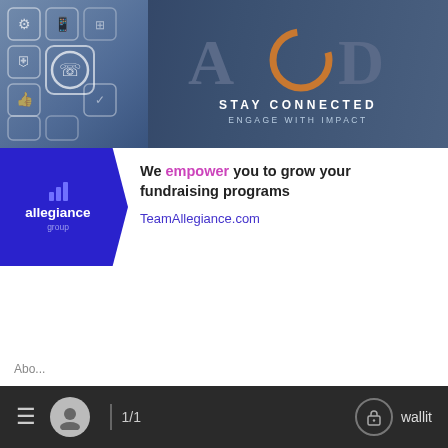[Figure (illustration): ACD banner with technology icons on the left side showing connectivity symbols, headset, shield, thumbs up, mobile phone icons on a blue gradient background. On the right: large bold ACD text with the C replaced by a bronze/copper circle arc, below it 'STAY CONNECTED' and 'ENGAGE WITH IMPACT' in white text.]
[Figure (logo): Allegiance Group logo: blue pentagon/arrow shape with bar chart icon and 'allegiance group' text in white on blue background.]
We empower you to grow your fundraising programs
TeamAllegiance.com
≡  [user icon]  1/1  [lock icon]  wallit